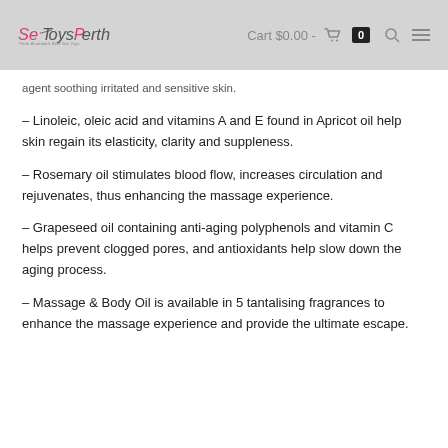SexToysPerth  Cart $0.00 - 0
agent soothing irritated and sensitive skin.
– Linoleic, oleic acid and vitamins A and E found in Apricot oil help skin regain its elasticity, clarity and suppleness.
– Rosemary oil stimulates blood flow, increases circulation and rejuvenates, thus enhancing the massage experience.
– Grapeseed oil containing anti-aging polyphenols and vitamin C helps prevent clogged pores, and antioxidants help slow down the aging process.
– Massage & Body Oil is available in 5 tantalising fragrances to enhance the massage experience and provide the ultimate escape.